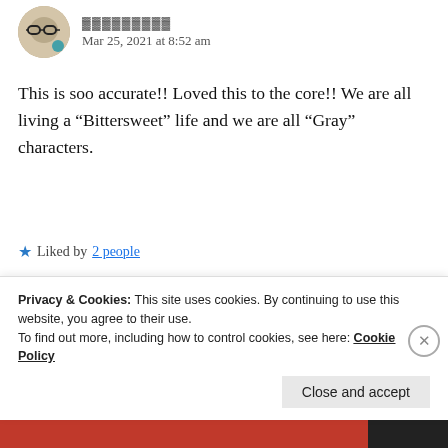[Figure (illustration): Circular avatar image of a person with glasses on a decorative background with teal blue accent, partially cropped at top]
Mar 25, 2021 at 8:52 am
This is soo accurate!! Loved this to the core!! We are all living a “Bittersweet” life and we are all “Gray” characters.
★ Liked by 2 people
REPLY
[Figure (illustration): Circular avatar partially visible at bottom]
Privacy & Cookies: This site uses cookies. By continuing to use this website, you agree to their use.
To find out more, including how to control cookies, see here: Cookie Policy
Close and accept